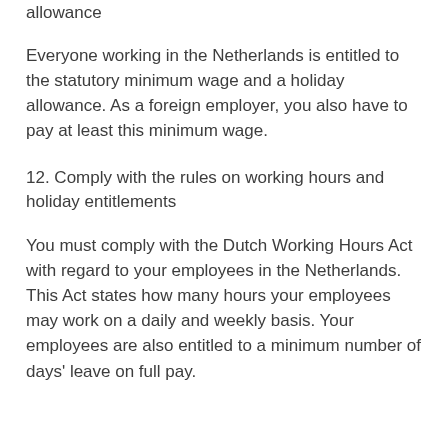allowance
Everyone working in the Netherlands is entitled to the statutory minimum wage and a holiday allowance. As a foreign employer, you also have to pay at least this minimum wage.
12. Comply with the rules on working hours and holiday entitlements
You must comply with the Dutch Working Hours Act with regard to your employees in the Netherlands. This Act states how many hours your employees may work on a daily and weekly basis. Your employees are also entitled to a minimum number of days' leave on full pay.